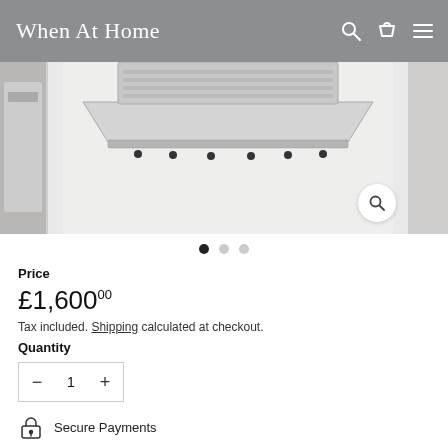When At Home
[Figure (photo): Product image of a stainless steel range hood/extractor fan, shown cropped with thumbnail previews on left and right edges. A zoom/magnify button is visible in the lower right of the main image.]
Price
£1,600.00
Tax included. Shipping calculated at checkout.
Quantity
- 1 +
Secure Payments